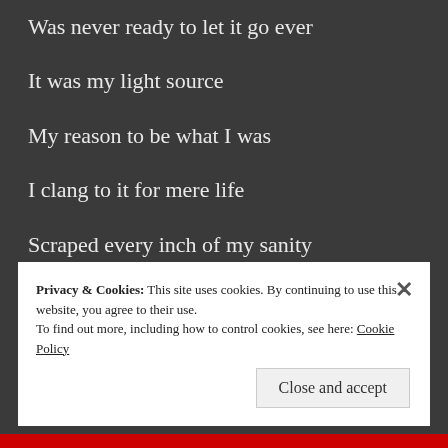Was never ready to let it go ever
It was my light source
My reason to be what I was
I clang to it for mere life
Scraped every inch of my sanity
Just to keep it alive
Privacy & Cookies: This site uses cookies. By continuing to use this website, you agree to their use.
To find out more, including how to control cookies, see here: Cookie Policy
Close and accept